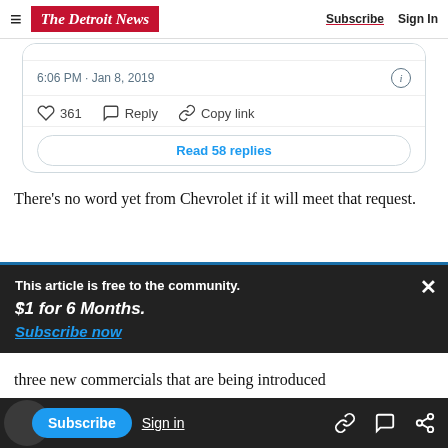The Detroit News — Subscribe  Sign In
[Figure (screenshot): Embedded tweet card showing timestamp 6:06 PM · Jan 8, 2019 with 361 likes, Reply and Copy link actions, and a Read 58 replies button]
There's no word yet from Chevrolet if it will meet that request.
This article is free to the community.
$1 for 6 Months.
Subscribe now
three new commercials that are being introduced
takes a different take on the General Motors Co.
Subscribe  Sign in